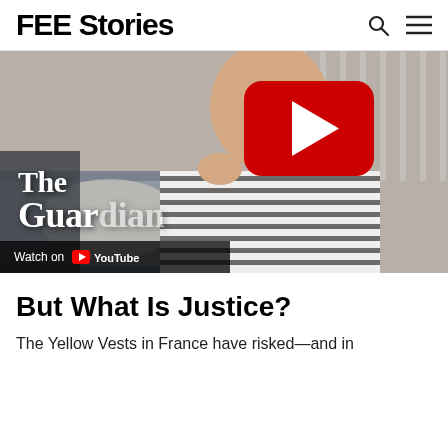FEE Stories
[Figure (screenshot): YouTube video thumbnail showing a young man in a striped shirt with 'The Guardian' text overlay and a red YouTube play button in the center. A 'Watch on YouTube' bar appears at the bottom left.]
But What Is Justice?
The Yellow Vests in France have risked—and in